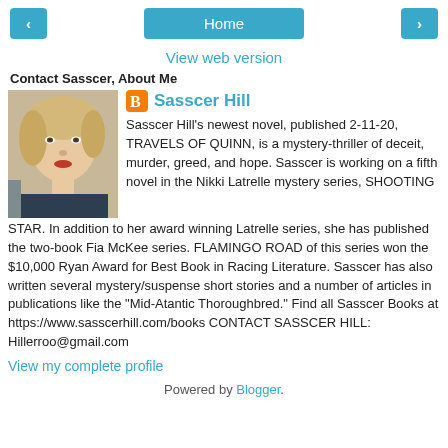‹  Home  ›
View web version
Contact Sasscer, About Me
[Figure (photo): Profile photo of Sasscer Hill, a woman with short blonde hair and red lipstick]
Sasscer Hill
Sasscer Hill's newest novel, published 2-11-20, TRAVELS OF QUINN, is a mystery-thriller of deceit, murder, greed, and hope. Sasscer is working on a fifth novel in the Nikki Latrelle mystery series, SHOOTING STAR. In addition to her award winning Latrelle series, she has published the two-book Fia McKee series. FLAMINGO ROAD of this series won the $10,000 Ryan Award for Best Book in Racing Literature. Sasscer has also written several mystery/suspense short stories and a number of articles in publications like the "Mid-Atantic Thoroughbred." Find all Sasscer Books at https://www.sasscerhill.com/books CONTACT SASSCER HILL: Hillerroo@gmail.com
View my complete profile
Powered by Blogger.